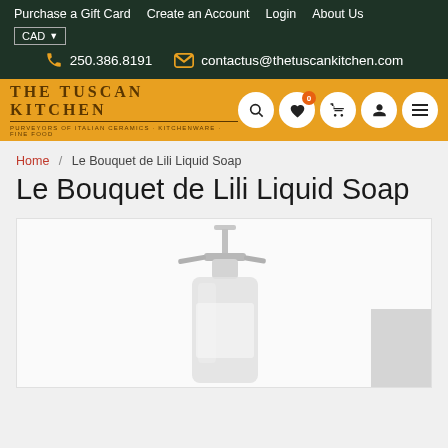Purchase a Gift Card   Create an Account   Login   About Us
250.386.8191   contactus@thetuscankitchen.com
[Figure (logo): The Tuscan Kitchen logo with orange background and navigation icons (search, heart with 0 badge, cart, account, menu)]
Home / Le Bouquet de Lili Liquid Soap
Le Bouquet de Lili Liquid Soap
[Figure (photo): Product photo of Le Bouquet de Lili Liquid Soap bottle with pump dispenser, shown partially cropped at the bottom of the page]